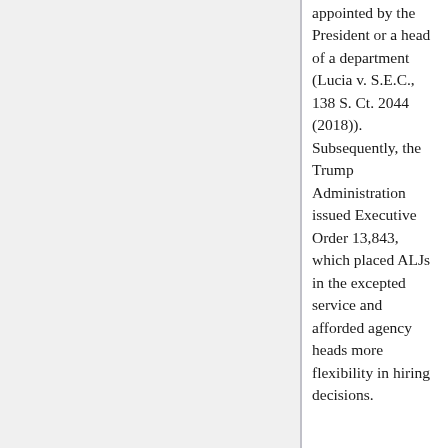appointed by the President or a head of a department (Lucia v. S.E.C., 138 S. Ct. 2044 (2018)). Subsequently, the Trump Administration issued Executive Order 13,843, which placed ALJs in the excepted service and afforded agency heads more flexibility in hiring decisions.